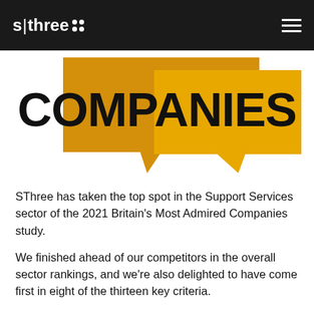s|three
[Figure (illustration): Yellow speech bubble graphic with the word COMPANIES in large bold black text on a white/yellow background. Two overlapping golden yellow speech bubbles form a decorative graphic element.]
SThree has taken the top spot in the Support Services sector of the 2021 Britain's Most Admired Companies study.
We finished ahead of our competitors in the overall sector rankings, and we're also delighted to have come first in eight of the thirteen key criteria.